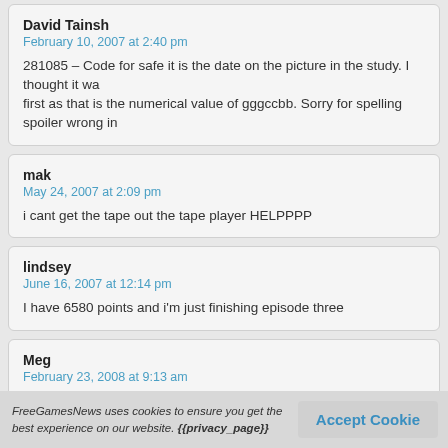David Tainsh
February 10, 2007 at 2:40 pm
281085 – Code for safe it is the date on the picture in the study. I thought it wa... first as that is the numerical value of gggccbb. Sorry for spelling spoiler wrong in...
mak
May 24, 2007 at 2:09 pm
i cant get the tape out the tape player HELPPPP
lindsey
June 16, 2007 at 12:14 pm
I have 6580 points and i'm just finishing episode three
Meg
February 23, 2008 at 9:13 am
What do you do with the ring?
FreeGamesNews uses cookies to ensure you get the best experience on our website. {{privacy_page}}